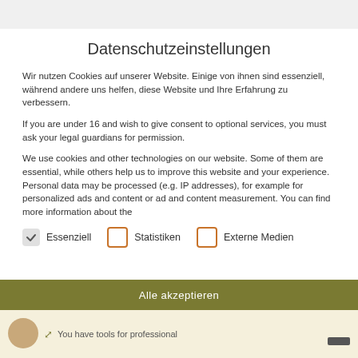Datenschutzeinstellungen
Wir nutzen Cookies auf unserer Website. Einige von ihnen sind essenziell, während andere uns helfen, diese Website und Ihre Erfahrung zu verbessern.
If you are under 16 and wish to give consent to optional services, you must ask your legal guardians for permission.
We use cookies and other technologies on our website. Some of them are essential, while others help us to improve this website and your experience. Personal data may be processed (e.g. IP addresses), for example for personalized ads and content or ad and content measurement. You can find more information about the
Essenziell
Statistiken
Externe Medien
Alle akzeptieren
You have tools for professional